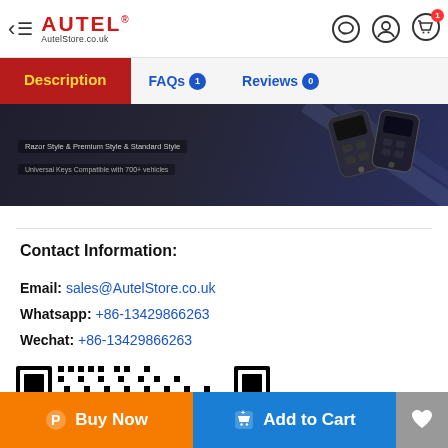Autel AutelStore.co.uk — navigation header with back arrow, hamburger menu, logo, chat, account, and cart icons
[Figure (screenshot): Navigation tab bar with Description (active, dark red background, yellow text), FAQs (1), Reviews (0)]
[Figure (photo): Dark themed hero banner showing car key fobs with text: Razor Style & Premium Style & Standard Style / Universal Keys Compatible with 700+ vehicles]
Contact Information:
Email: sales@AutelStore.co.uk
Whatsapp: +86-13429866263
Wechat: +86-13429866263
[Figure (other): QR code image (black and white) for contact]
Buy Now | Add to Cart | Wishlist